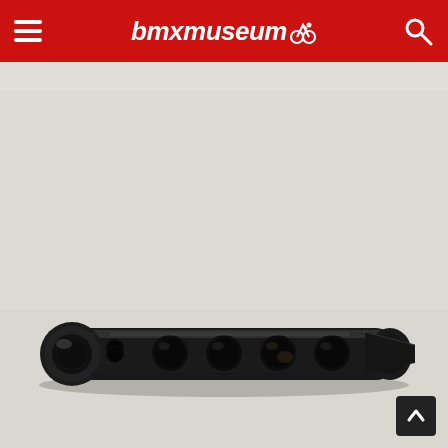bmxmuseum
[Figure (photo): A black anodized aluminum BMX bottom bracket spindle or axle component shown from the side against a light gray background. The part has multiple machined holes along its length and rounded ends.]